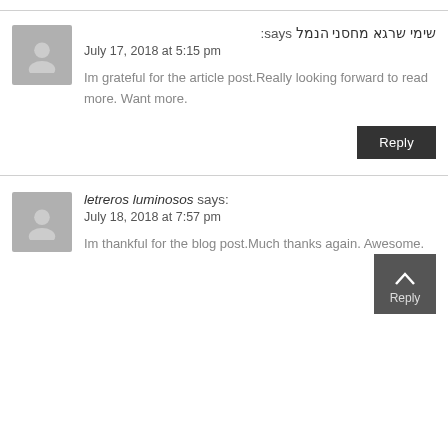שימי שרגא מחסני הנמל says:
July 17, 2018 at 5:15 pm
Im grateful for the article post.Really looking forward to read more. Want more.
letreros luminosos says:
July 18, 2018 at 7:57 pm
Im thankful for the blog post.Much thanks again. Awesome.